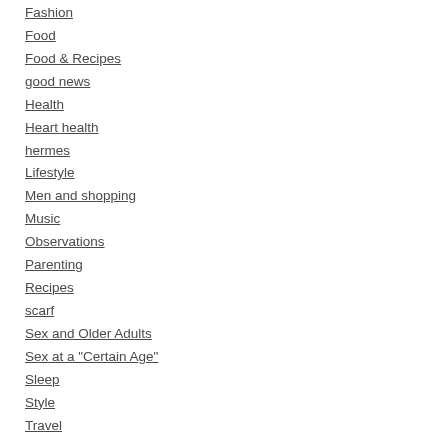Fashion
Food
Food & Recipes
good news
Health
Heart health
hermes
Lifestyle
Men and shopping
Music
Observations
Parenting
Recipes
scarf
Sex and Older Adults
Sex at a "Certain Age"
Sleep
Style
Travel